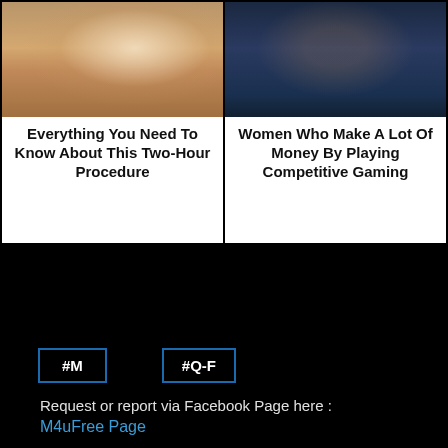[Figure (photo): Two article cards side by side. Left card shows a close-up cosmetic/eyebrow procedure being performed with gloved hands. Right card shows a young woman in a blue gaming jersey.]
Everything You Need To Know About This Two-Hour Procedure
Women Who Make A Lot Of Money By Playing Competitive Gaming
#M
#Q-F
Request or report via Facebook Page here :
M4uFree Page